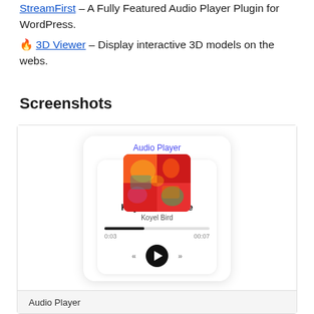🎵 StreamFirst – A Fully Featured Audio Player Plugin for WordPress.
🔥 3D Viewer – Display interactive 3D models on the webs.
Screenshots
[Figure (screenshot): Audio Player plugin UI showing a card with colorful album art, track 'Koyel Bird Voice' by 'Koyel Bird', progress bar at 0:03 of 00:07, play/skip controls]
Audio Player